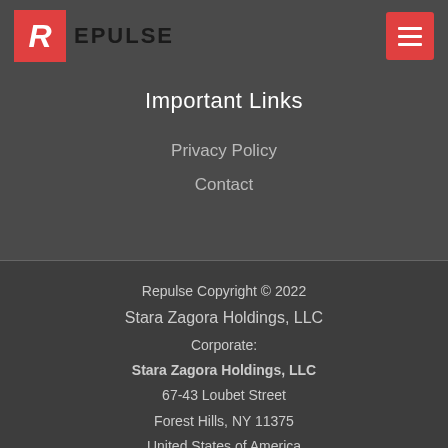[Figure (logo): Repulse logo with red R icon and dark text]
Important Links
Privacy Policy
Contact
Repulse Copyright © 2022
Stara Zagora Holdings, LLC
Corporate:
Stara Zagora Holdings, LLC
67-43 Loubet Street
Forest Hills, NY 11375
United States of America